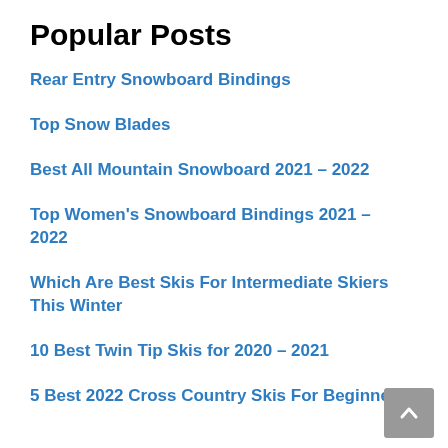Popular Posts
Rear Entry Snowboard Bindings
Top Snow Blades
Best All Mountain Snowboard 2021 – 2022
Top Women's Snowboard Bindings 2021 – 2022
Which Are Best Skis For Intermediate Skiers This Winter
10 Best Twin Tip Skis for 2020 – 2021
5 Best 2022 Cross Country Skis For Beginners